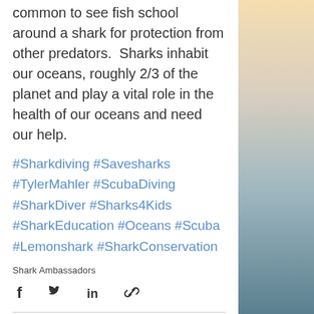common to see fish school around a shark for protection from other predators.  Sharks inhabit our oceans, roughly 2/3 of the planet and play a vital role in the health of our oceans and need our help.
#Sharkdiving #Savesharks #TylerMahler #ScubaDiving #SharkDiver #Sharks4Kids #SharkEducation #Oceans #Scuba #Lemonshark #SharkConservation
Shark Ambassadors
[Figure (other): Social share icons: Facebook, Twitter, LinkedIn, link/copy]
[Figure (other): Reaction bar with eye/views icon showing 0, comment icon, and heart/like icon]